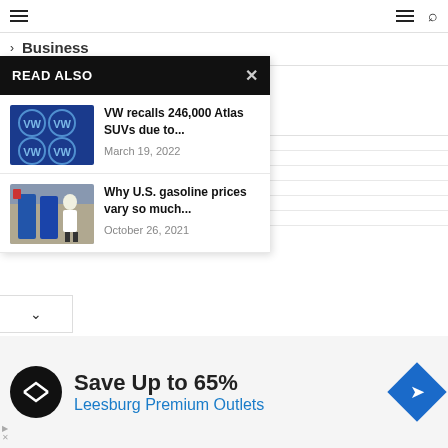Navigation bar with hamburger menu and search icon
> Business
> Food
READ ALSO
[Figure (photo): VW logo on building]
VW recalls 246,000 Atlas SUVs due to...
March 19, 2022
[Figure (photo): Person at gas station pumps]
Why U.S. gasoline prices vary so much...
October 26, 2021
Save Up to 65%
Leesburg Premium Outlets